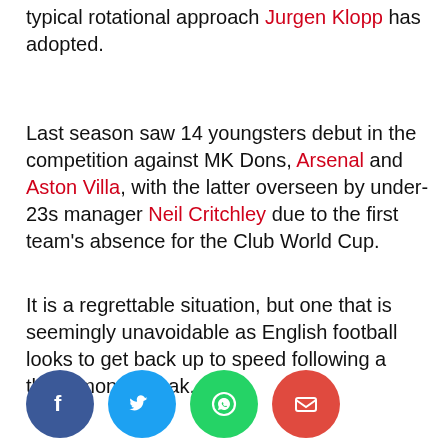typical rotational approach Jurgen Klopp has adopted.
Last season saw 14 youngsters debut in the competition against MK Dons, Arsenal and Aston Villa, with the latter overseen by under-23s manager Neil Critchley due to the first team's absence for the Club World Cup.
It is a regrettable situation, but one that is seemingly unavoidable as English football looks to get back up to speed following a three-month break.
[Figure (infographic): Social share buttons: Facebook (blue), Twitter (light blue), WhatsApp (green), Email (red)]